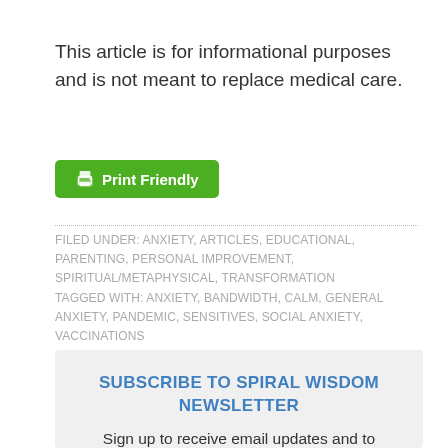This article is for informational purposes and is not meant to replace medical care.
[Figure (other): Green 'Print Friendly' button with printer icon]
FILED UNDER: ANXIETY, ARTICLES, EDUCATIONAL, PARENTING, PERSONAL IMPROVEMENT, SPIRITUAL/METAPHYSICAL, TRANSFORMATION TAGGED WITH: ANXIETY, BANDWIDTH, CALM, GENERAL ANXIETY, PANDEMIC, SENSITIVES, SOCIAL ANXIETY, VACCINATIONS
SUBSCRIBE TO SPIRAL WISDOM NEWSLETTER
Sign up to receive email updates and to